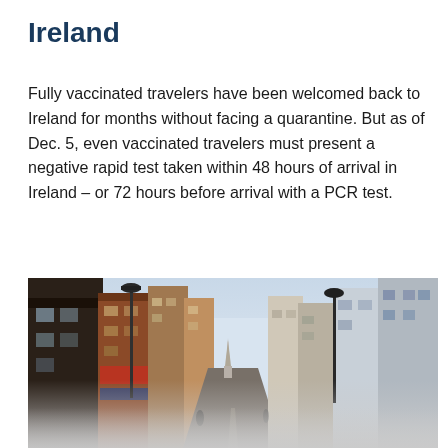Ireland
Fully vaccinated travelers have been welcomed back to Ireland for months without facing a quarantine. But as of Dec. 5, even vaccinated travelers must present a negative rapid test taken within 48 hours of arrival in Ireland – or 72 hours before arrival with a PCR test.
[Figure (photo): Street scene in Ireland showing a narrow city street lined with colorful multi-story buildings, street lamps, and pedestrians; sky visible at the end of the street with a church steeple in the background.]